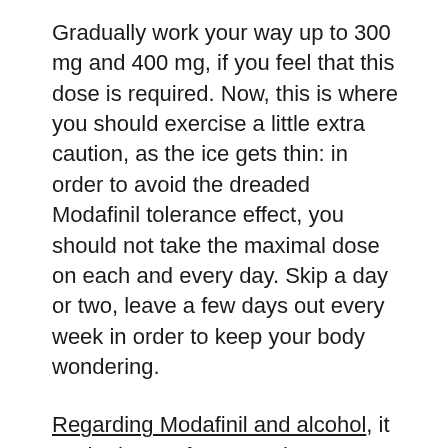Gradually work your way up to 300 mg and 400 mg, if you feel that this dose is required. Now, this is where you should exercise a little extra caution, as the ice gets thin: in order to avoid the dreaded Modafinil tolerance effect, you should not take the maximal dose on each and every day. Skip a day or two, leave a few days out every week in order to keep your body wondering.
Regarding Modafinil and alcohol, it worked great for some, but you have to be careful. Take a small glass of wine, feel for it, increase if needed. Alcohol can increase the side effects of your drug. The health effects can also be augmented, which is a ground one should tread with extreme care, as it can all spin out of control all too fast. That said – be careful, and let your body tell you how it works